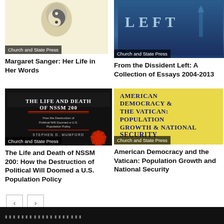[Figure (illustration): Book cover: Margaret Sanger Her Life in Her Words, Church and State Press, cream/white background with figure]
Margaret Sanger: Her Life in Her Words
[Figure (illustration): Book cover: From the Dissident Left, blue background with LEFT text, Church and State Press]
From the Dissident Left: A Collection of Essays 2004-2013
[Figure (illustration): Book cover: The Life and Death of NSSM 200, black background, by Stephen D. Mumford, Church and State Press]
The Life and Death of NSSM 200: How the Destruction of Political Will Doomed a U.S. Population Policy
[Figure (illustration): Book cover: American Democracy and the Vatican: Population Growth and National Security, yellow background, Church and State Press]
American Democracy and the Vatican: Population Growth and National Security
[Figure (illustration): Navigation previous and next buttons]
[Figure (illustration): Bottom strip showing another book cover, dark background]